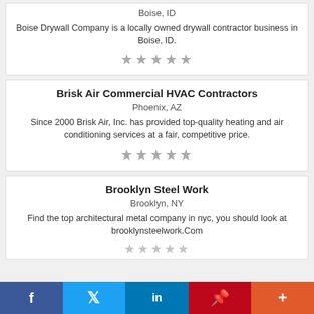Boise, ID
Boise Drywall Company is a locally owned drywall contractor business in Boise, ID.
★★★★★
Brisk Air Commercial HVAC Contractors
Phoenix, AZ
Since 2000 Brisk Air, Inc. has provided top-quality heating and air conditioning services at a fair, competitive price.
★★★★★
Brooklyn Steel Work
Brooklyn, NY
Find the top architectural metal company in nyc, you should look at brooklynsteelwork.Com
★★★★★
f  🐦  in  P  +